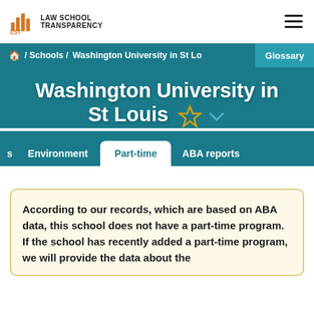LAW SCHOOL TRANSPARENCY
🏠 / Schools / Washington University in St Lo... Glossary
Washington University in St Louis
Tabs: s | Environment | Part-time (active) | ABA reports
According to our records, which are based on ABA data, this school does not have a part-time program. If the school has recently added a part-time program, we will provide the data about the